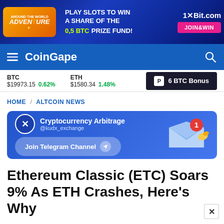[Figure (other): Top advertisement banner for 1xBit.com casino - Around the World Adventure slot game. Play slots to win a share of the 0.5 BTC prize fund. Join & Win button.]
CoinGape
BTC $19973.15 0.62%  ETH $1580.34 1.48%  6 BTC Bonus
HOME / ALTCOIN NEWS
[Figure (other): Cryptocurrency Arbitrage @kudx_exchange - Join Telegram Channel advertisement banner with paper airplane and notification bell graphic]
Ethereum Classic (ETC) Soars 9% As ETH Crashes, Here's Why